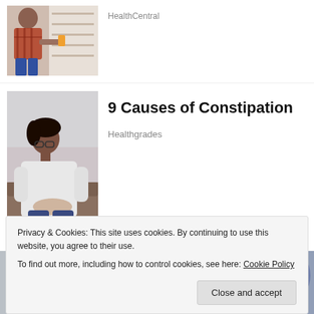[Figure (photo): Woman in pharmacy or store, wearing plaid shirt, crouching down and looking at products on shelf]
HealthCentral
[Figure (photo): Woman with glasses and dark hair tied back, sitting on a couch in a white sweater, holding her abdomen]
9 Causes of Constipation
Healthgrades
[Figure (photo): Close-up of person with dark hair bent over, wearing white top; blurred figure in background]
Privacy & Cookies: This site uses cookies. By continuing to use this website, you agree to their use.
To find out more, including how to control cookies, see here: Cookie Policy
Close and accept